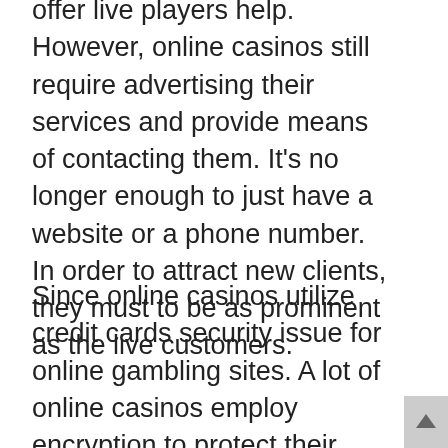offer live players help. However, online casinos still require advertising their services and provide means of contacting them. It's no longer enough to just have a website or a phone number. In order to attract new clients, they must to be as prominent as the live customers.
Since online casinos utilize credit cards security issue for online gambling sites. A lot of online casinos employ encryption to protect their customers' personal data. It is one of the major issues with credit cards and is part of the Payment Card Industry Data Security Standard (PCI DSS). Fraudsters use every method to gain access to credit card data. Therefore encryption is the most